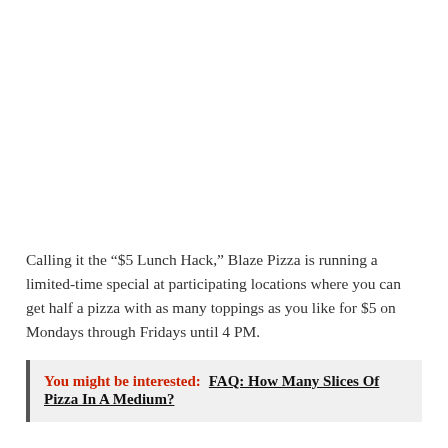Calling it the “$5 Lunch Hack,” Blaze Pizza is running a limited-time special at participating locations where you can get half a pizza with as many toppings as you like for $5 on Mondays through Fridays until 4 PM.
You might be interested: FAQ: How Many Slices Of Pizza In A Medium?